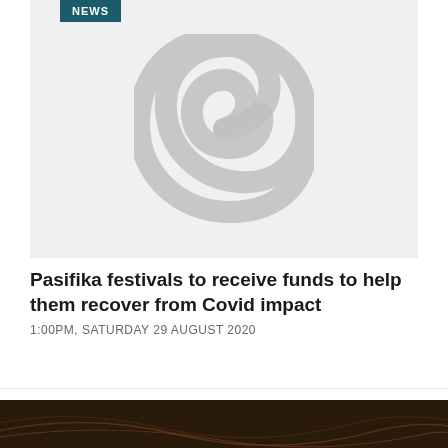[Figure (illustration): Placeholder image with a grey spiral/koru symbol on a light grey background, with a teal NEWS badge in the top-left corner]
Pasifika festivals to receive funds to help them recover from Covid impact
1:00PM, SATURDAY 29 AUGUST 2020
Show more results